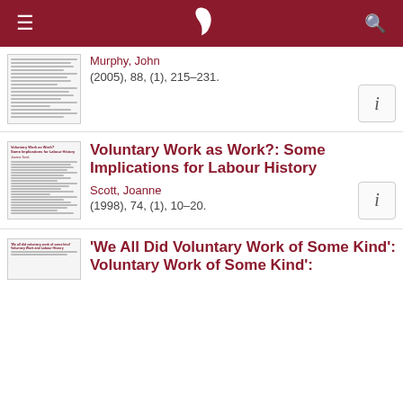Navigation header with menu, logo, and search
Murphy, John
(2005), 88, (1), 215–231.
Voluntary Work as Work?: Some Implications for Labour History
Scott, Joanne
(1998), 74, (1), 10–20.
'We All Did Voluntary Work of Some Kind':